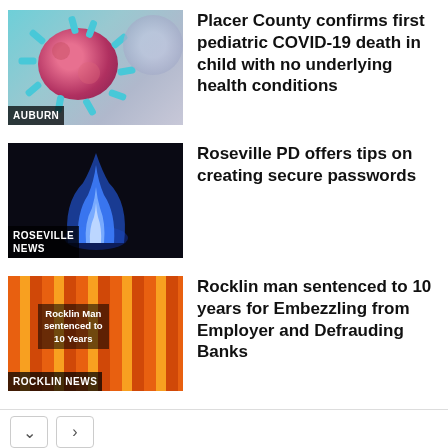[Figure (photo): Microscopic image of COVID-19 virus with teal/pink blobs and label AUBURN]
Placer County confirms first pediatric COVID-19 death in child with no underlying health conditions
[Figure (photo): Dark background with blue flame, label ROSEVILLE NEWS]
Roseville PD offers tips on creating secure passwords
[Figure (photo): Orange striped background with text overlay Rocklin Man sentenced to 10 Years, label ROCKLIN NEWS]
Rocklin man sentenced to 10 years for Embezzling from Employer and Defrauding Banks
[Figure (other): Advertisement: HC logo, View store hours, get directions, or call your salon!]